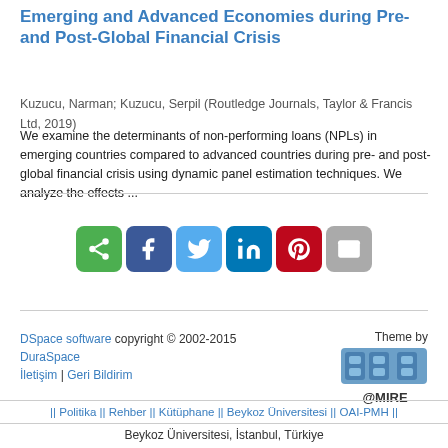Emerging and Advanced Economies during Pre- and Post-Global Financial Crisis
Kuzucu, Narman; Kuzucu, Serpil (Routledge Journals, Taylor & Francis Ltd, 2019)
We examine the determinants of non-performing loans (NPLs) in emerging countries compared to advanced countries during pre- and post-global financial crisis using dynamic panel estimation techniques. We analyze the effects ...
[Figure (infographic): Social share buttons: share (green), Facebook (dark blue), Twitter (light blue), LinkedIn (blue), Pinterest (red), Email (gray)]
DSpace software copyright © 2002-2015  DuraSpace
İletişim | Geri Bildirim
Theme by @MIRE
|| Politika || Rehber || Kütüphane || Beykoz Üniversitesi || OAI-PMH ||
Beykoz Üniversitesi, İstanbul, Türkiye